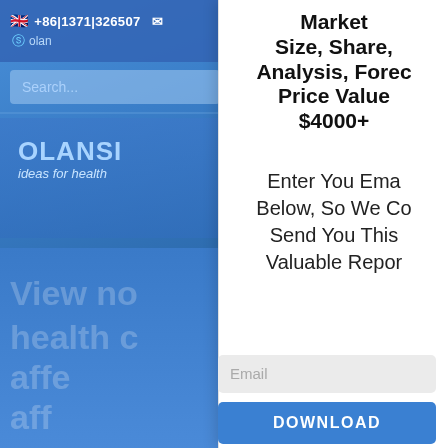[Figure (screenshot): Left side: Screenshot of OLANSI website with blue background, showing phone number +86 13711326507, Skype icon, search bar, OLANSI logo with tagline 'ideas for health', and large watermark text 'View now health affe aff']
Market Size, Share, Analysis, Forecast Price Value $4000+
Enter You Email Below, So We Can Send You This Valuable Report
Email
DOWNLOAD